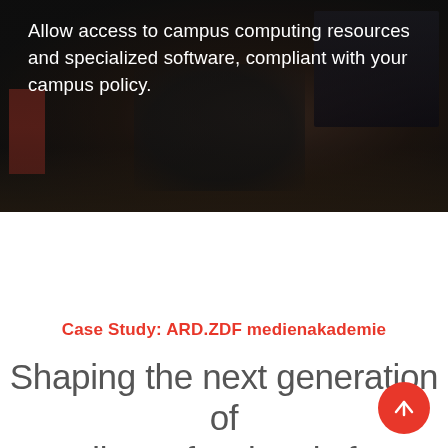[Figure (photo): Dark-toned photo of a person sitting at a desk with computer monitors, editing/computing environment, overlaid with dark semi-transparent gradient]
Allow access to campus computing resources and specialized software, compliant with your campus policy.
Case Study: ARD.ZDF medienakademie
Shaping the next generation of media professionals from